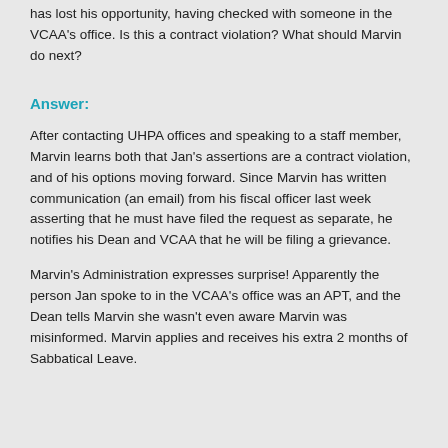has lost his opportunity, having checked with someone in the VCAA's office. Is this a contract violation? What should Marvin do next?
Answer:
After contacting UHPA offices and speaking to a staff member, Marvin learns both that Jan's assertions are a contract violation, and of his options moving forward. Since Marvin has written communication (an email) from his fiscal officer last week asserting that he must have filed the request as separate, he notifies his Dean and VCAA that he will be filing a grievance.
Marvin's Administration expresses surprise! Apparently the person Jan spoke to in the VCAA's office was an APT, and the Dean tells Marvin she wasn't even aware Marvin was misinformed. Marvin applies and receives his extra 2 months of Sabbatical Leave.